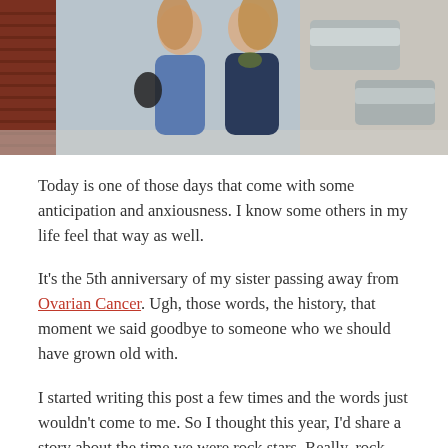[Figure (photo): Two women with curly hair smiling and posing together on a street sidewalk. Brick wall visible on the left, parked cars in the background on the right.]
Today is one of those days that come with some anticipation and anxiousness. I know some others in my life feel that way as well.
It's the 5th anniversary of my sister passing away from Ovarian Cancer. Ugh, those words, the history, that moment we said goodbye to someone who we should have grown old with.
I started writing this post a few times and the words just wouldn't come to me. So I thought this year, I'd share a story about the time we were rock stars. Really, rock stars, on stage baby!